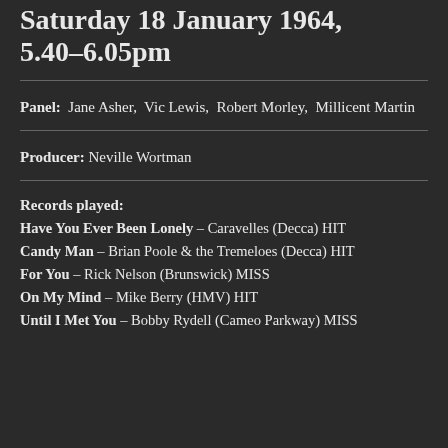Saturday 18 January 1964, 5.40–6.05pm
Panel: Jane Asher, Vic Lewis, Robert Morley, Millicent Martin
Producer: Neville Wortman
Records played:
Have You Ever Been Lonely – Caravelles (Decca) HIT
Candy Man – Brian Poole & the Tremeloes (Decca) HIT
For You – Rick Nelson (Brunswick) MISS
On My Mind – Mike Berry (HMV) HIT
Until I Met You – Bobby Rydell (Cameo Parkway) MISS